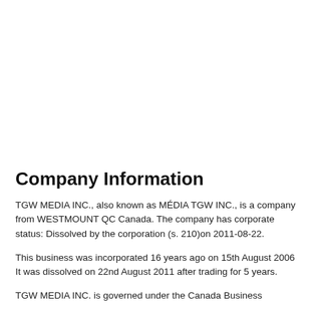Company Information
TGW MEDIA INC., also known as MÉDIA TGW INC., is a company from WESTMOUNT QC Canada. The company has corporate status: Dissolved by the corporation (s. 210)on 2011-08-22.
This business was incorporated 16 years ago on 15th August 2006 It was dissolved on 22nd August 2011 after trading for 5 years.
TGW MEDIA INC. is governed under the Canada Business